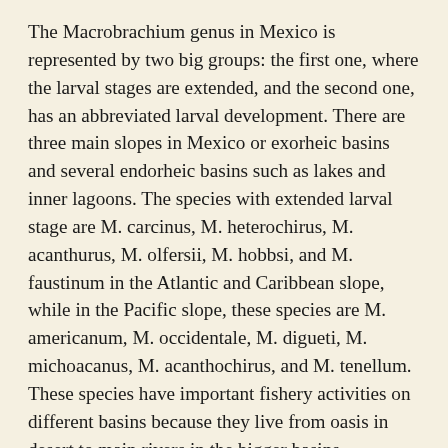The Macrobrachium genus in Mexico is represented by two big groups: the first one, where the larval stages are extended, and the second one, has an abbreviated larval development. There are three main slopes in Mexico or exorheic basins and several endorheic basins such as lakes and inner lagoons. The species with extended larval stage are M. carcinus, M. heterochirus, M. acanthurus, M. olfersii, M. hobbsi, and M. faustinum in the Atlantic and Caribbean slope, while in the Pacific slope, these species are M. americanum, M. occidentale, M. digueti, M. michoacanus, M. acanthochirus, and M. tenellum. These species have important fishery activities on different basins because they live from oasis in desert to main rivers in the bigger basins. However, there are some rivers that have an extended region on their upstream such as Usumacinta, Grijalva, Papaloapan, and